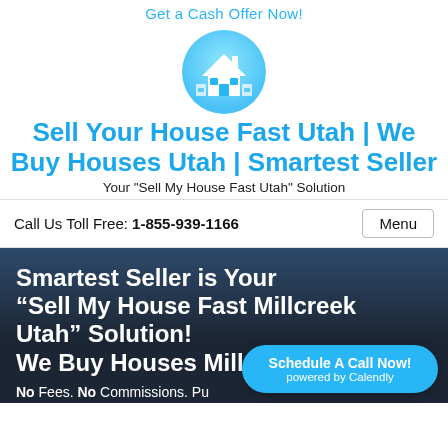Get a Cash Offer Now!
[Figure (logo): Blue circular logo with white house icon]
Sell Your House Fast Utah | We Buy Houses Utah | Smartest Seller
Your "Sell My House Fast Utah" Solution
Call Us Toll Free: 1-855-939-1166   Menu
Smartest Seller is Your “Sell My House Fast Millcreek Utah” Solution! We Buy Houses Millcreek Utah
No Fees. No Commissions. Pu... Pocket.
Schedule A Call Now! powered by Calendly